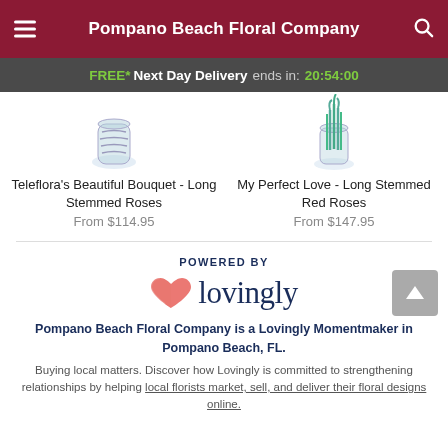Pompano Beach Floral Company
FREE* Next Day Delivery ends in: 20:54:00
[Figure (photo): Product image of Teleflora's Beautiful Bouquet - Long Stemmed Roses in a glass vase]
Teleflora's Beautiful Bouquet - Long Stemmed Roses
From $114.95
[Figure (photo): Product image of My Perfect Love - Long Stemmed Red Roses in a glass vase with green stems]
My Perfect Love - Long Stemmed Red Roses
From $147.95
[Figure (logo): Powered by Lovingly logo with pink heart icon and dark navy text]
Pompano Beach Floral Company is a Lovingly Momentmaker in Pompano Beach, FL.
Buying local matters. Discover how Lovingly is committed to strengthening relationships by helping local florists market, sell, and deliver their floral designs online.